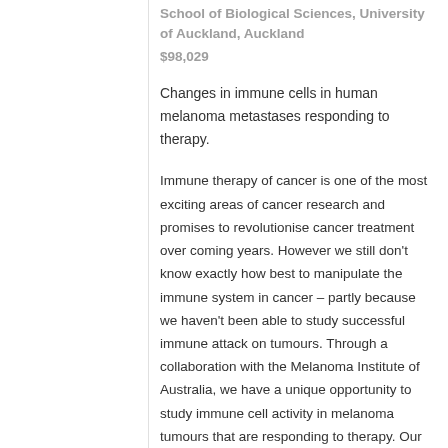School of Biological Sciences, University of Auckland, Auckland
$98,029
Changes in immune cells in human melanoma metastases responding to therapy.
Immune therapy of cancer is one of the most exciting areas of cancer research and promises to revolutionise cancer treatment over coming years. However we still don't know exactly how best to manipulate the immune system in cancer – partly because we haven't been able to study successful immune attack on tumours. Through a collaboration with the Melanoma Institute of Australia, we have a unique opportunity to study immune cell activity in melanoma tumours that are responding to therapy. Our studies will help improve design of immune therapy for cancer,